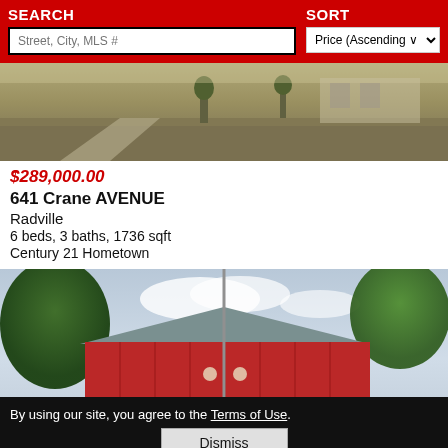SEARCH | SORT
[Figure (photo): Exterior photo of property at 641 Crane AVENUE showing lawn and walkway]
$289,000.00
641 Crane AVENUE
Radville
6 beds, 3 baths, 1736 sqft
Century 21 Hometown
[Figure (photo): Exterior photo of a red barn-style house with trees and flagpole]
By using our site, you agree to the Terms of Use.
Dismiss